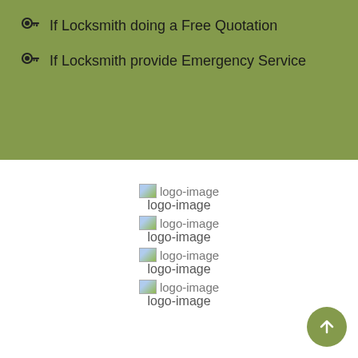If Locksmith doing a Free Quotation
If Locksmith provide Emergency Service
[Figure (logo): Broken image placeholder with text 'logo-image']
[Figure (logo): Broken image placeholder with text 'logo-image']
[Figure (logo): Broken image placeholder with text 'logo-image']
[Figure (logo): Broken image placeholder with text 'logo-image']